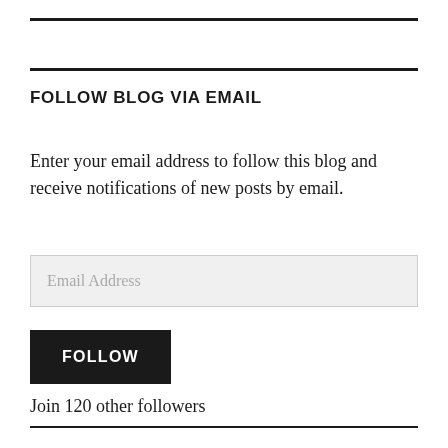FOLLOW BLOG VIA EMAIL
Enter your email address to follow this blog and receive notifications of new posts by email.
Email Address
FOLLOW
Join 120 other followers